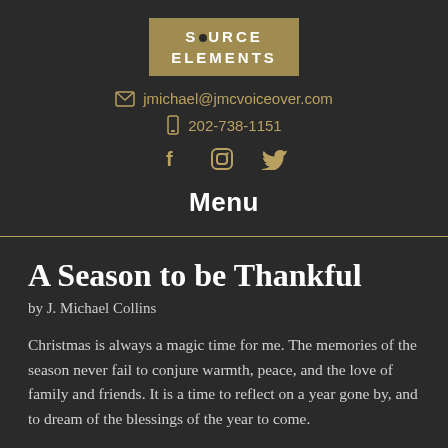[Figure (logo): Source Elements logo — gold/tan rectangle with white text reading SOURCE ELEMENTS with a circular dot replacing the O in SOURCE]
jmichael@jmcvoiceover.com
202-738-1151
[Figure (infographic): Social media icons: Facebook (f), Instagram (circle with inner square), Twitter (bird)]
Menu
A Season to be Thankful
by J. Michael Collins
Christmas is always a magic time for me. The memories of the season never fail to conjure warmth, peace, and the love of family and friends. It is a time to reflect on a year gone by, and to dream of the blessings of the year to come.